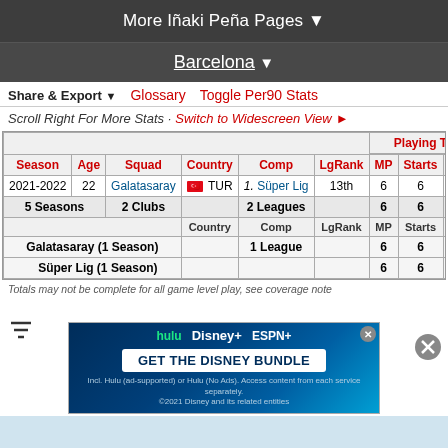More Iñaki Peña Pages ▼
Barcelona ▼
Share & Export ▼   Glossary   Toggle Per90 Stats
Scroll Right For More Stats · Switch to Widescreen View ►
| Season | Age | Squad | Country | Comp | LgRank | MP | Starts | Min | 9 |
| --- | --- | --- | --- | --- | --- | --- | --- | --- | --- |
| 2021-2022 | 22 | Galatasaray | TUR | 1. Süper Lig | 13th | 6 | 6 | 540 |  |
| 5 Seasons |  | 2 Clubs |  | 2 Leagues |  | 6 | 6 | 540 |  |
|  |  |  | Country | Comp | LgRank | MP | Starts | Min | 9 |
| Galatasaray (1 Season) |  |  |  | 1 League |  | 6 | 6 | 540 |  |
| Süper Lig (1 Season) |  |  |  |  |  | 6 | 6 | 5... |  |
Totals may not be complete for all game level play, see coverage note
[Figure (photo): Disney Bundle advertisement banner with Hulu, Disney+, ESPN+ logos]